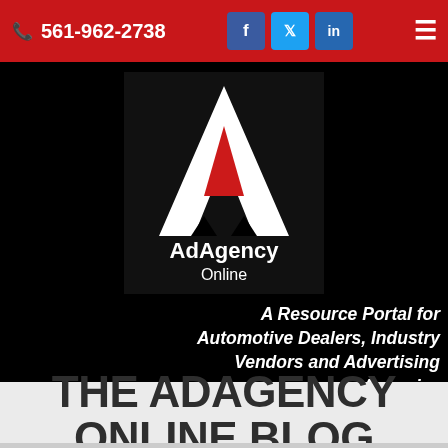📞 561-962-2738  [Facebook] [Twitter] [LinkedIn]  ≡
[Figure (logo): AdAgency Online logo — white letter A with red inner triangle, white text 'AdAgency Online' below, on black background]
A Resource Portal for Automotive Dealers, Industry Vendors and Advertising Agencies
THE ADAGENCY ONLINE BLOG